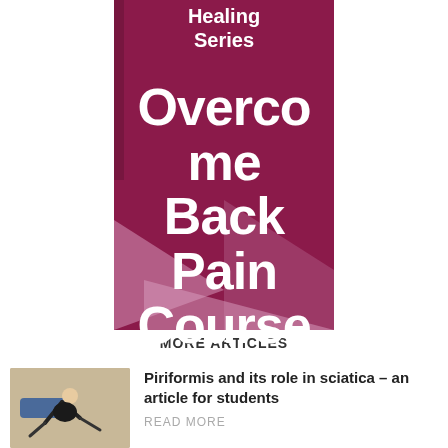[Figure (illustration): Purple/maroon geometric banner with 'Healing Series' at top and 'Overcome Back Pain Course' in large white bold text, with decorative geometric shapes in lighter purple]
MORE ARTICLES
[Figure (photo): Person doing a piriformis stretch exercise on the floor]
Piriformis and its role in sciatica – an article for students
READ MORE